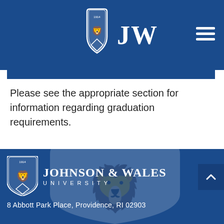JWU — Johnson & Wales University navigation header
Please see the appropriate section for information regarding graduation requirements.
Johnson & Wales University — 8 Abbott Park Place, Providence, RI 02903